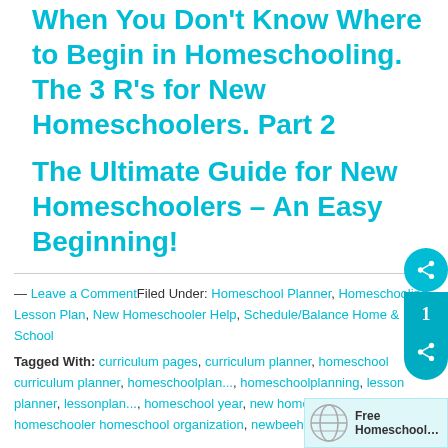When You Don't Know Where to Begin in Homeschooling. The 3 R's for New Homeschoolers. Part 2
The Ultimate Guide for New Homeschoolers – An Easy Beginning!
— Leave a Comment Filed Under: Homeschool Planner, Homeschooling, Lesson Plan, New Homeschooler Help, Schedule/Balance Home & School
Tagged With: curriculum pages, curriculum planner, homeschool curriculum planner, homeschoolplan..., homeschoolplanning, lesson planner, lessonplan..., homeschool year, new homeschooler, new homeschooler homeschool organization, newbeehomeschooler, planner